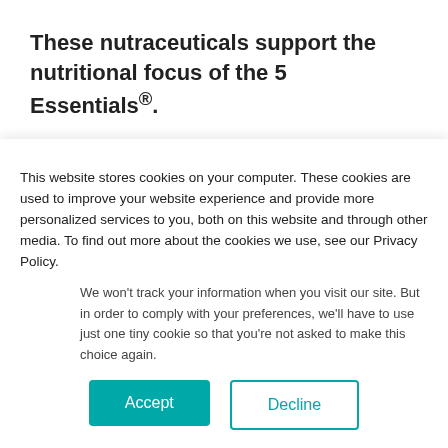These nutraceuticals support the nutritional focus of the 5 Essentials®.
[Figure (infographic): Social share buttons: Facebook Share, Twitter Tweet, Pinterest Pin it]
[Figure (infographic): Rating display: 4.6 stars (4.5 filled stars shown), text 'Based on 7 Reviews']
This website stores cookies on your computer. These cookies are used to improve your website experience and provide more personalized services to you, both on this website and through other media. To find out more about the cookies we use, see our Privacy Policy.
We won't track your information when you visit our site. But in order to comply with your preferences, we'll have to use just one tiny cookie so that you're not asked to make this choice again.
Accept
Decline